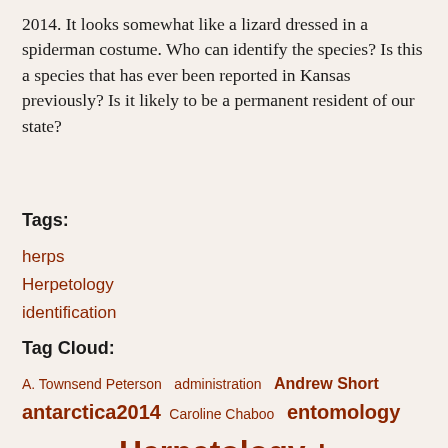2014. It looks somewhat like a lizard dressed in a spiderman costume. Who can identify the species? Is this a species that has ever been reported in Kansas previously? Is it likely to be a permanent resident of our state?
Tags:
herps
Herpetology
identification
Tag Cloud:
A. Townsend Peterson  administration  Andrew Short  antarctica2014  Caroline Chaboo  entomology  fossil  grant  Herpetology  herps  ichthyology  identification  informatics  invert-paleo  Leonard Krishtalka  Leo Smith  Michael Engel  museum  Natural History Museum  ornithology  paleobotany  Paul Selden  Philippines  Philippines